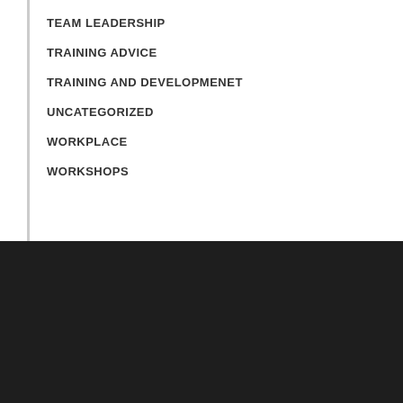TEAM LEADERSHIP
TRAINING ADVICE
TRAINING AND DEVELOPMENET
UNCATEGORIZED
WORKPLACE
WORKSHOPS
ABOUT US
Churchill Square Consulting Ltd
118, Pall Mall
London, SW1Y 8EA